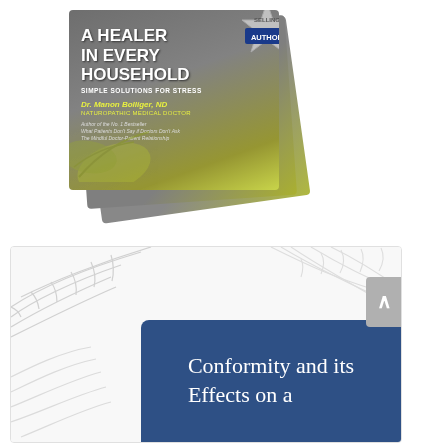[Figure (illustration): Stack of books titled 'A Healer in Every Household: Simple Solutions for Stress' by Dr. Manon Bolliger, ND, Naturopathic Medical Doctor. Features a 'Best Selling Author' badge. Book has gray and green color scheme with leaf decorations.]
[Figure (illustration): Partial view of a card/banner with gray palm leaf decorations on white background and a blue rounded rectangle containing the beginning of a title: 'Conformity and its Effects on a'. A gray scroll-to-top button is visible on the right.]
Conformity and its Effects on a